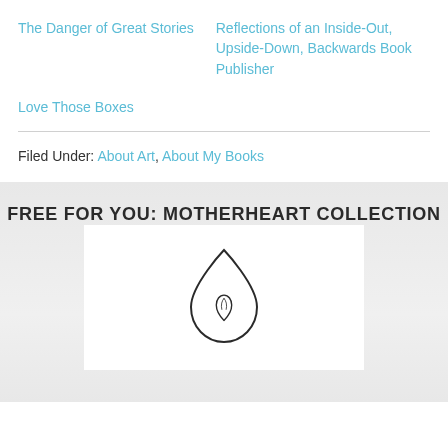The Danger of Great Stories
Reflections of an Inside-Out, Upside-Down, Backwards Book Publisher
Love Those Boxes
Filed Under: About Art, About My Books
FREE FOR YOU: MOTHERHEART COLLECTION
[Figure (logo): MotherheartPress logo: a teardrop shape containing a small hand/heart icon, with the text 'MotherheartPress' underlined below]